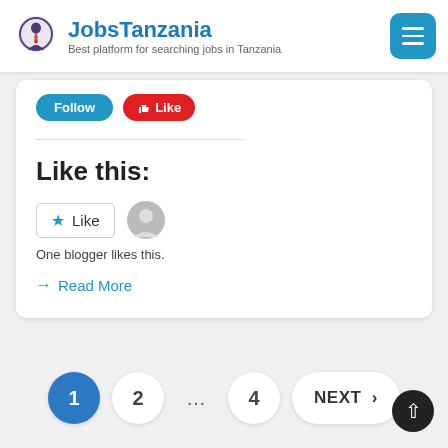JobsTanzania — Best platform for searching jobs in Tanzania
[Figure (screenshot): Social share buttons: Follow (blue) and Like (red with thumbs up icon)]
Like this:
[Figure (screenshot): WordPress like widget with star icon, Like button in bordered box, and avatar circle for one blogger]
One blogger likes this.
→ Read More
Pagination: 1 (active) 2 … 4 NEXT >